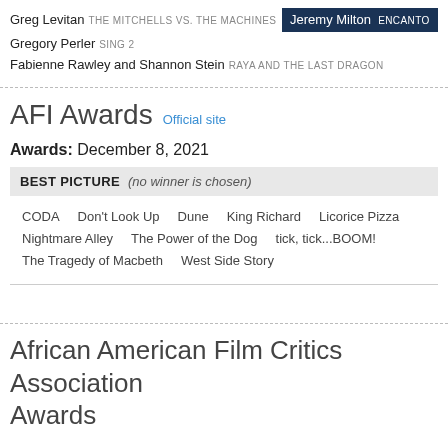Greg Levitan THE MITCHELLS VS. THE MACHINES
Jeremy Milton ENCANTO (winner)
Gregory Perler SING 2
Fabienne Rawley and Shannon Stein RAYA AND THE LAST DRAGON
AFI Awards Official site
Awards: December 8, 2021
BEST PICTURE (no winner is chosen)
CODA  Don't Look Up  Dune  King Richard  Licorice Pizza  Nightmare Alley  The Power of the Dog  tick, tick...BOOM!  The Tragedy of Macbeth  West Side Story
African American Film Critics Association Awards